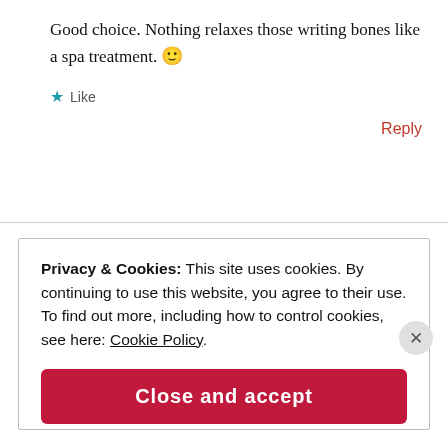Good choice. Nothing relaxes those writing bones like a spa treatment. 🙂
★ Like
Reply
Privacy & Cookies: This site uses cookies. By continuing to use this website, you agree to their use. To find out more, including how to control cookies, see here: Cookie Policy
Close and accept